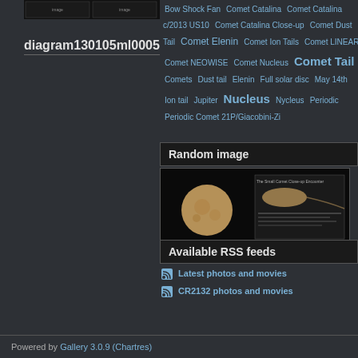[Figure (screenshot): Thumbnail image at top left]
diagram130105ml0005
Bow Shock Fan Comet Catalina Comet Catalina c/2013 US10 Comet Catalina Close-up Comet Dust Tail Comet Elenin Comet Ion Tails Comet LINEAR Comet NEOWISE Comet Nucleus Comet Tail Comets Dust tail Elenin Full solar disc May 14th Ion tail Jupiter Nucleus Nycleus Periodic Periodic Comet 21P/Giacobini-Zi
Random image
[Figure (screenshot): Random image showing moon and comet diagram on dark background]
Available RSS feeds
Latest photos and movies
CR2132 photos and movies
Powered by Gallery 3.0.9 (Chartres)